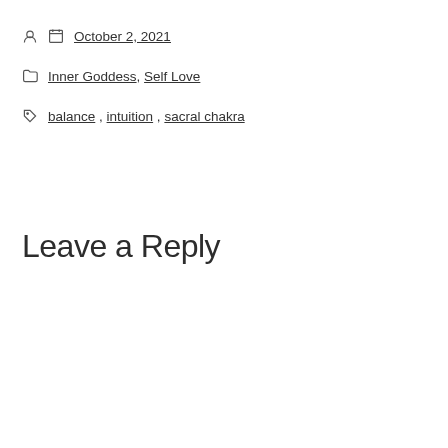October 2, 2021
Inner Goddess, Self Love
balance, intuition, sacral chakra
Leave a Reply